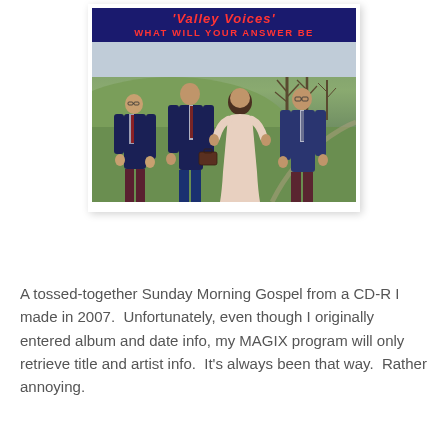[Figure (photo): Album cover photo of 'Valley Voices - What Will Your Answer Be' showing four people (three men in dark suits and one woman in a light dress) standing outdoors on a grassy hill with bare trees in the background. The banner at the top has a dark blue background with red text.]
A tossed-together Sunday Morning Gospel from a CD-R I made in 2007.  Unfortunately, even though I originally entered album and date info, my MAGIX program will only retrieve title and artist info.  It's always been that way.  Rather annoying.